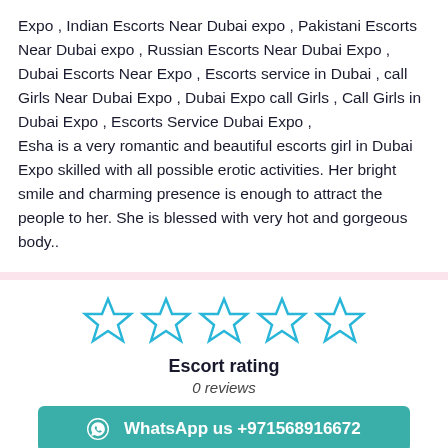Expo , Indian Escorts Near Dubai expo , Pakistani Escorts Near Dubai expo , Russian Escorts Near Dubai Expo , Dubai Escorts Near Expo , Escorts service in Dubai , call Girls Near Dubai Expo , Dubai Expo call Girls , Call Girls in Dubai Expo , Escorts Service Dubai Expo , Esha is a very romantic and beautiful escorts girl in Dubai Expo skilled with all possible erotic activities. Her bright smile and charming presence is enough to attract the people to her. She is blessed with very hot and gorgeous body..
[Figure (other): 5 empty star rating icons in cyan/blue outline]
Escort rating
0 reviews
WhatsApp us +971568916672
AVAILABILITY
SMOKER